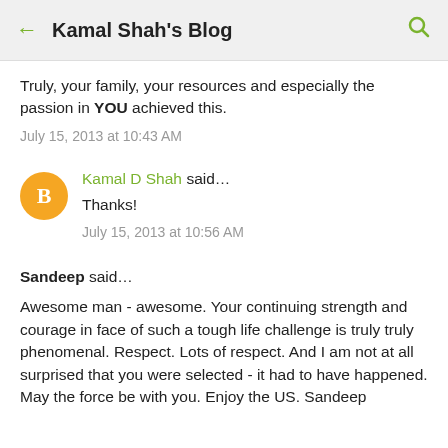Kamal Shah's Blog
Truly, your family, your resources and especially the passion in YOU achieved this.
July 15, 2013 at 10:43 AM
Kamal D Shah said…
Thanks!
July 15, 2013 at 10:56 AM
Sandeep said…
Awesome man - awesome. Your continuing strength and courage in face of such a tough life challenge is truly truly phenomenal. Respect. Lots of respect. And I am not at all surprised that you were selected - it had to have happened. May the force be with you. Enjoy the US. Sandeep